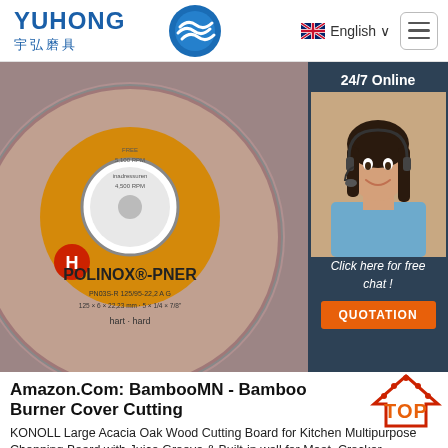[Figure (logo): Yuhong logo with Chinese text 宇弘磨具 and blue wave icon]
English ∨
[Figure (photo): Close-up photo of POLINOX-PNER abrasive grinding wheel with orange center label, H grade marking, on granular surface background]
[Figure (photo): 24/7 Online chat widget showing woman with headset, 'Click here for free chat!' text and QUOTATION button]
Amazon.Com: BambooMN - Bamboo Burner Cover Cutting
[Figure (illustration): TOP badge/icon in red and orange]
KONOLL Large Acacia Oak Wood Cutting Board for Kitchen Multipurpose Chopping Board with Juice Groove & Built-in well for Meat, Cracker, Vegetables and Cheese, 15